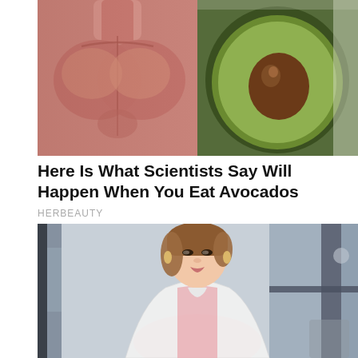[Figure (photo): Composite image showing an anatomical muscular torso/chest on the left and a halved avocado with pit visible on the right, set against a bright background.]
Here Is What Scientists Say Will Happen When You Eat Avocados
HERBEAUTY
[Figure (photo): A young Asian woman with brown hair wearing a white lace jacket over a pink top, posing indoors near large windows with a blurred office-like background.]